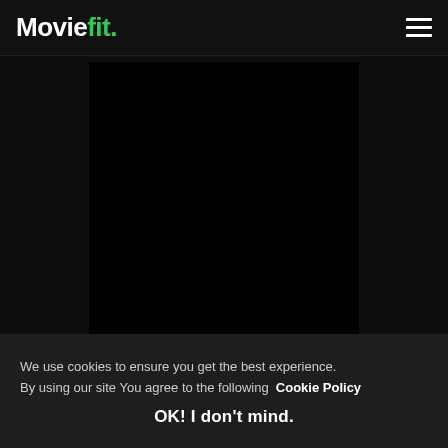Moviefit.
[Figure (photo): Dark movie poster image area, mostly black, with partial movie title text visible at the bottom reading 'Queen Sugar (2016)']
We use cookies to ensure you get the best experience. By using our site You agree to the following Cookie Policy
OK! I don't mind.